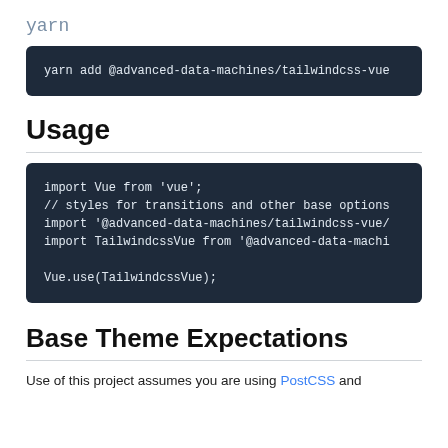yarn
yarn add @advanced-data-machines/tailwindcss-vue
Usage
import Vue from 'vue';
// styles for transitions and other base options
import '@advanced-data-machines/tailwindcss-vue/
import TailwindcssVue from '@advanced-data-machi

Vue.use(TailwindcssVue);
Base Theme Expectations
Use of this project assumes you are using PostCSS and